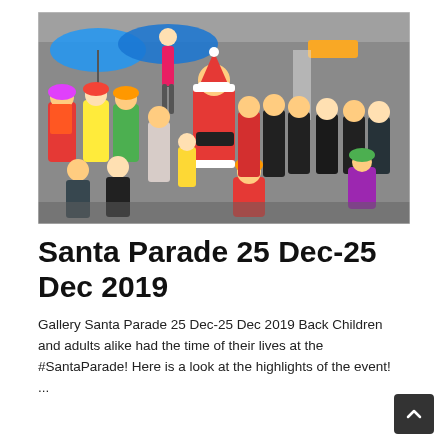[Figure (photo): Group photo of people in colorful clown costumes, Santa Claus costume, and regular clothing, gathered outdoors at what appears to be a shopping area with blue umbrella shades visible in the background.]
Santa Parade 25 Dec-25 Dec 2019
Gallery Santa Parade 25 Dec-25 Dec 2019 Back Children and adults alike had the time of their lives at the #SantaParade! Here is a look at the highlights of the event! ...